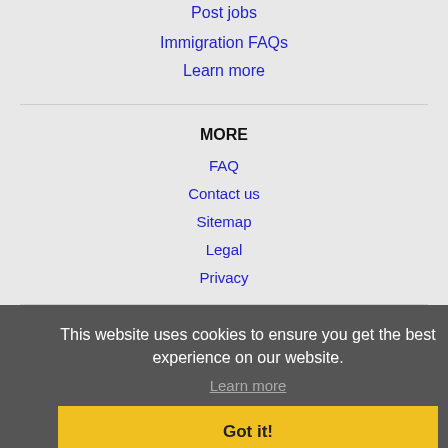Post jobs
Immigration FAQs
Learn more
MORE
FAQ
Contact us
Sitemap
Legal
Privacy
This website uses cookies to ensure you get the best experience on our website.
Learn more
NEARBY CITIES
Alpharetta, GA Jobs
Athens, GA Jobs
Got it!
Atlanta, GA Jobs
Chattanooga, TN Jobs
Cleveland, TN Jobs